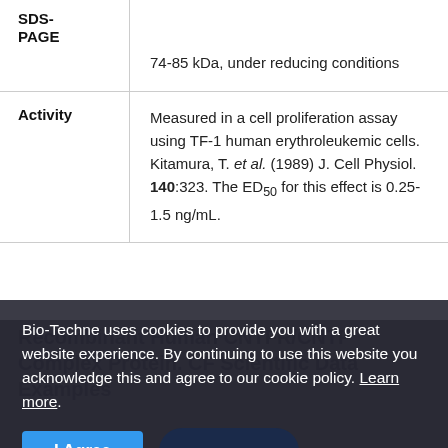| Property | Value |
| --- | --- |
| SDS-PAGE | 74-85 kDa, under reducing conditions |
| Activity | Measured in a cell proliferation assay using TF-1 human erythroleukemic cells. Kitamura, T. et al. (1989) J. Cell Physiol. 140:323. The ED50 for this effect is 0.25-1.5 ng/mL. |
Recombinant Human CNTFR/CNTF Receptor Complex Protein. CF Scientific Data Examples
Bio-Techne uses cookies to provide you with a great website experience. By continuing to use this website you acknowledge this and agree to our cookie policy. Learn more.